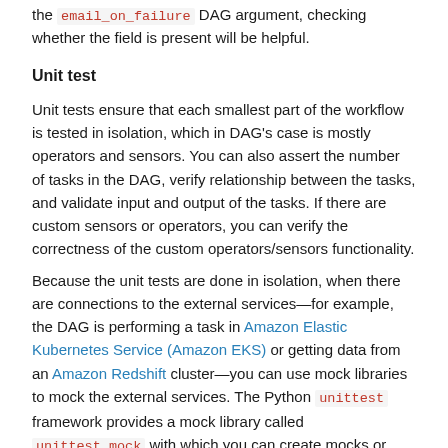the email_on_failure DAG argument, checking whether the field is present will be helpful.
Unit test
Unit tests ensure that each smallest part of the workflow is tested in isolation, which in DAG's case is mostly operators and sensors. You can also assert the number of tasks in the DAG, verify relationship between the tasks, and validate input and output of the tasks. If there are custom sensors or operators, you can verify the correctness of the custom operators/sensors functionality.
Because the unit tests are done in isolation, when there are connections to the external services—for example, the DAG is performing a task in Amazon Elastic Kubernetes Service (Amazon EKS) or getting data from an Amazon Redshift cluster—you can use mock libraries to mock the external services. The Python unittest framework provides a mock library called unittest.mock with which you can create mocks or stubs and assert input arguments or return values to make sure that your code is integrating with the external service correctly.